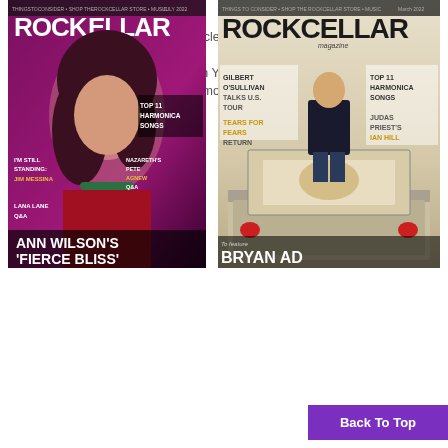(Q&A with Cy Curnin)
Art Alexakis Q&A: 30 Years of Everclear, Touring with MS and Being ‘Confrontationally Authentic’ (“When You’re 60, You Don’t Have to Be Nice Anymore”)
READ NOW→
[Figure (photo): Rock Cellar Magazine cover featuring Ann Wilson with text 'ANN WILSON'S FIERCE BLISS', TOP 11 HARMONICA SONGS, I'M STILL STANDING: JIM MESSINA, NAZARETH'S PETE AGNEW Q&A, LANA LANE Q&A]
[Figure (photo): Rock Cellar Magazine cover featuring Bryan Adams standing in a trunk of a classic car, with text GILBERT O'SULLIVAN TALKS U.S. TOUR, TEARS FOR FEARS RETURN, TOP 11 HARMONICA SONGS, JUDAS PRIEST'S IAN HILL, BRYAN AD...]
Back To Top